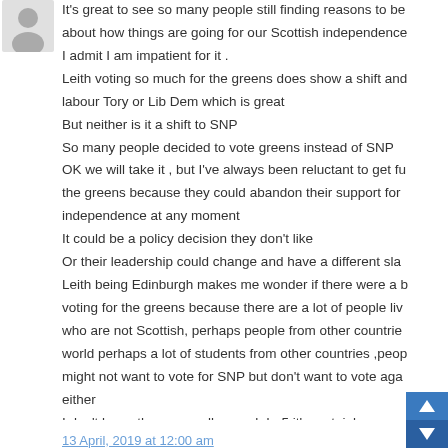[Figure (illustration): Generic user avatar silhouette in grey circle]
It's great to see so many people still finding reasons to be about how things are going for our Scottish independence I admit I am impatient for it . Leith voting so much for the greens does show a shift and labour Tory or Lib Dem which is great But neither is it a shift to SNP So many people decided to vote greens instead of SNP OK we will take it , but I've always been reluctant to get fu the greens because they could abandon their support for independence at any moment It could be a policy decision they don't like Or their leadership could change and have a different sla Leith being Edinburgh makes me wonder if there were a b voting for the greens because there are a lot of people liv who are not Scottish, perhaps people from other countrie world perhaps a lot of students from other countries ,peop might not want to vote for SNP but don't want to vote aga either I don't know the area well enough bu5 it's certainly an un unexpected result to see greens get 25% in Edinb
13 April, 2019 at 12:00 am